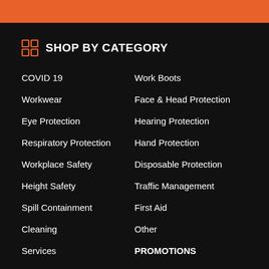SHOP BY CATEGORY
COVID 19
Workwear
Eye Protection
Respiratory Protection
Workplace Safety
Height Safety
Spill Containment
Cleaning
Services
Gift Cards
Work Boots
Face & Head Protection
Hearing Protection
Hand Protection
Disposable Protection
Traffic Management
First Aid
Other
PROMOTIONS